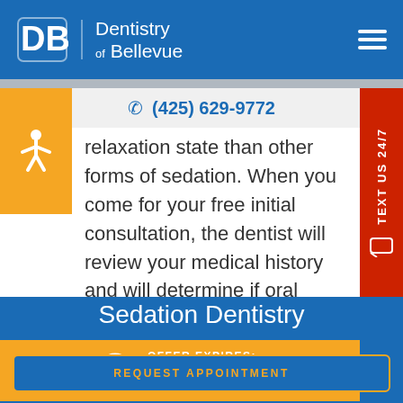Dentistry of Bellevue
(425) 629-9772
relaxation state than other forms of sedation. When you come for your free initial consultation, the dentist will review your medical history and will determine if oral sedation is the best sedation option f
OFFER EXPIRES: 13:55:26
Sedation Dentistry
REQUEST APPOINTMENT